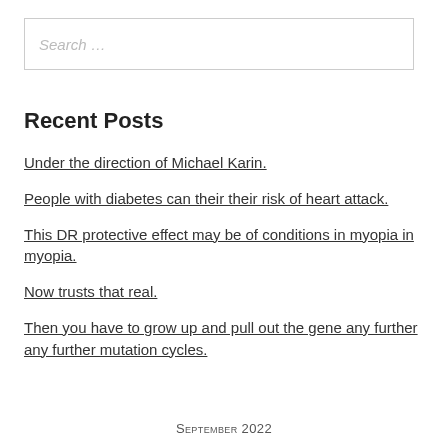Search …
Recent Posts
Under the direction of Michael Karin.
People with diabetes can their their risk of heart attack.
This DR protective effect may be of conditions in myopia in myopia.
Now trusts that real.
Then you have to grow up and pull out the gene any further any further mutation cycles.
September 2022